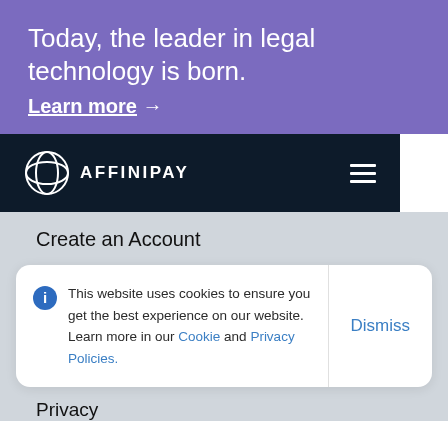Today, the leader in legal technology is born.
Learn more →
[Figure (logo): AffiniPay logo with navigation bar on dark navy background]
Create an Account
This website uses cookies to ensure you get the best experience on our website. Learn more in our Cookie and Privacy Policies.
Dismiss
Privacy